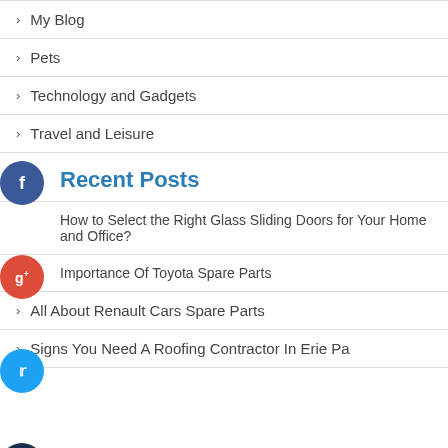My Blog
Pets
Technology and Gadgets
Travel and Leisure
Recent Posts
How to Select the Right Glass Sliding Doors for Your Home and Office?
Importance Of Toyota Spare Parts
All About Renault Cars Spare Parts
Signs You Need A Roofing Contractor In Erie Pa